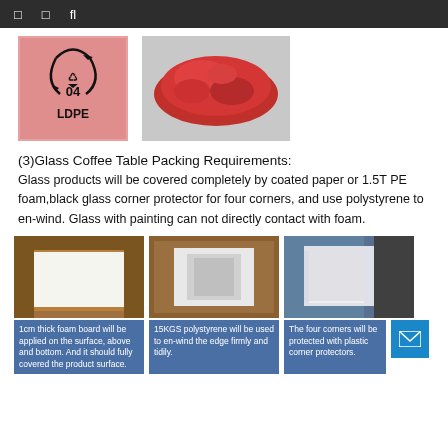□  □  fl
[Figure (photo): Two photos: left shows a pinkish plastic film with recycling symbol and text '04 LDPE'; right shows a red plastic bag crumpled on a surface.]
(3)Glass Coffee Table Packing Requirements:
Glass products will be covered completely by coated paper or 1.5T PE foam,black glass corner protector for four corners, and use polystyrene to en-wind. Glass with painting can not directly contact with foam.
[Figure (photo): Three photos of packing materials: left shows open box with white foam board; center shows polystyrene wrapping in a box; right shows foam corner protector being placed.]
1cm thick foam board will be applied on the surface, above and bottom. And it should fully covered the product surface.
15KGS polystyrene will be used to en-wind the edge firmly and tidily.
The four corners will be protected with plastic corner protectors.